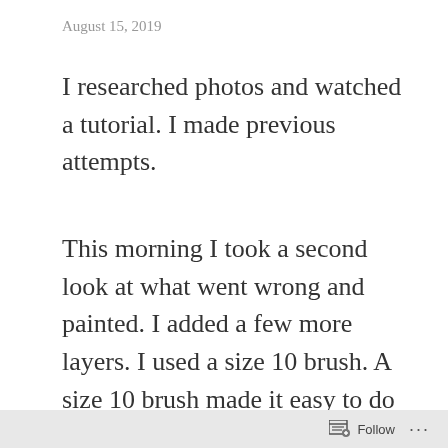August 15, 2019
I researched photos and watched a tutorial. I made previous attempts.
This morning I took a second look at what went wrong and painted. I added a few more layers. I used a size 10 brush. A size 10 brush made it easy to do the diagonal right and left strokes for each petal. I had the right tones of blue purple. I finished up
Follow